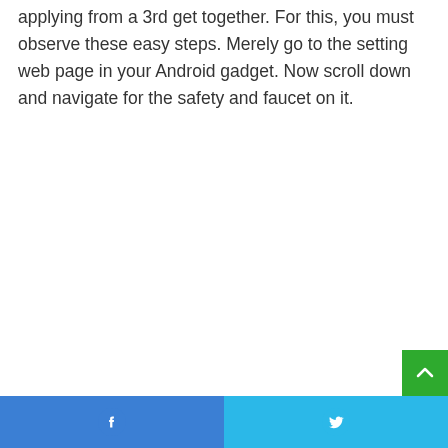applying from a 3rd get together. For this, you must observe these easy steps. Merely go to the setting web page in your Android gadget. Now scroll down and navigate for the safety and faucet on it.
[Figure (other): Green scroll-to-top button with upward chevron arrow icon, positioned bottom-right]
[Figure (other): Blue Facebook share button with Facebook 'f' icon on the left half of the footer bar]
[Figure (other): Cyan/light-blue Twitter share button with Twitter bird icon on the right half of the footer bar]